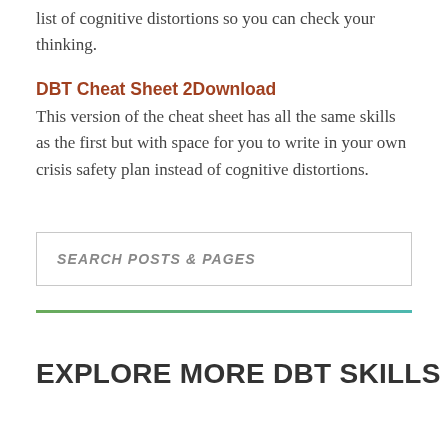list of cognitive distortions so you can check your thinking.
DBT Cheat Sheet 2Download
This version of the cheat sheet has all the same skills as the first but with space for you to write in your own crisis safety plan instead of cognitive distortions.
SEARCH POSTS & PAGES
EXPLORE MORE DBT SKILLS